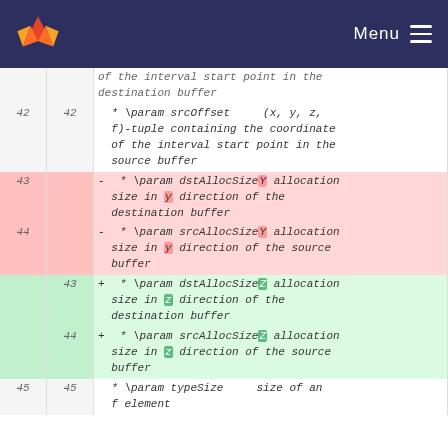Menu
| old | new | code |
| --- | --- | --- |
|  |  | of the interval start point in the destination buffer |
| 42 | 42 | * \param srcOffset    (x, y, z, f)-tuple containing the coordinate of the interval start point in the source buffer |
| 43 |  | - * \param dstAllocSizeY allocation size in y direction of the destination buffer |
| 44 |  | - * \param srcAllocSizeY allocation size in y direction of the source buffer |
|  | 43 | + * \param dstAllocSizeZ allocation size in z direction of the destination buffer |
|  | 44 | + * \param srcAllocSizeZ allocation size in z direction of the source buffer |
| 45 | 45 | * \param typeSize    size of an f element |